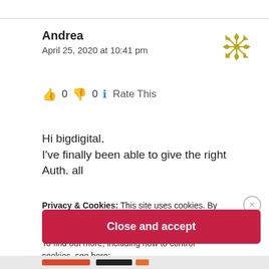Andrea
April 25, 2020 at 10:41 pm
[Figure (illustration): Decorative snowflake/flower icon in olive/yellow-green color]
👍 0 👎 0 ℹ Rate This
Hi bigdigital.
I've finally been able to give the right Auth. all
Privacy & Cookies: This site uses cookies. By continuing to use this website, you agree to their use.
To find out more, including how to control cookies, see here:
Cookie Policy
Close and accept